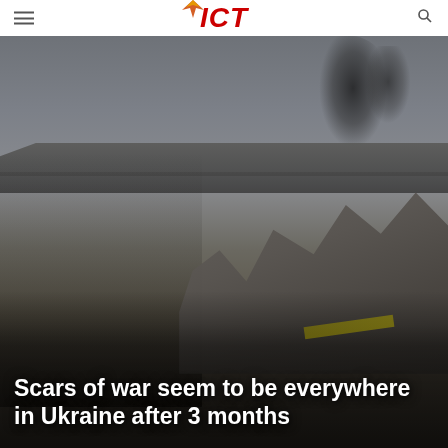ICT
[Figure (photo): Civilians evacuating through war-damaged area in Ukraine. A woman in black coat carries a fluffy dog and luggage while walking past a destroyed bridge with rubble and debris. Other civilians follow behind. Smoke rises in the background. Scene depicts wartime evacuation in Mariupol or similar Ukrainian city.]
Scars of war seem to be everywhere in Ukraine after 3 months